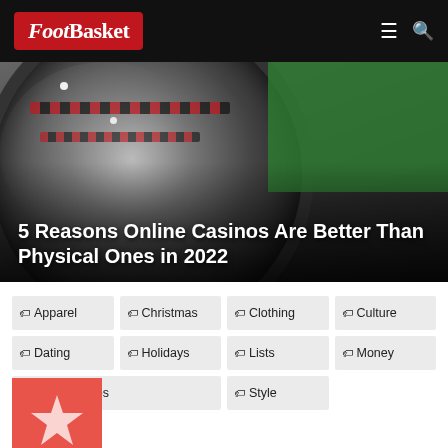FootBasket
[Figure (photo): Roulette wheel on a casino table with green felt background, with article title overlay: 5 Reasons Online Casinos Are Better Than Physical Ones in 2022]
5 Reasons Online Casinos Are Better Than Physical Ones in 2022
Apparel
Christmas
Clothing
Culture
Dating
Holidays
Lists
Money
Relationships
Style